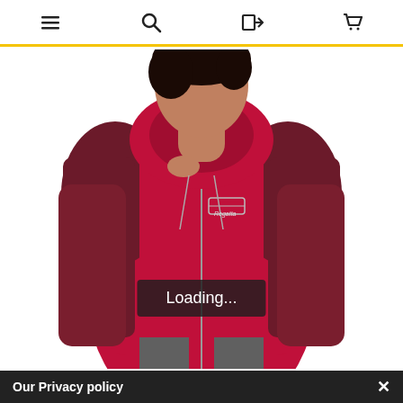Navigation bar with hamburger menu, search, login, and cart icons
[Figure (photo): Woman wearing a red and dark maroon/burgundy two-tone zip-up outdoor hooded jacket with a brand logo on the chest, posing against a white background. The jacket has contrasting dark panels on the shoulders and sleeves.]
Loading...
Our Privacy policy  ✕